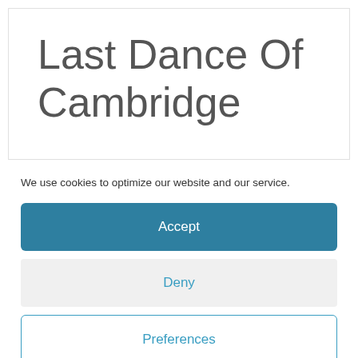Last Dance Of Cambridge
We use cookies to optimize our website and our service.
Accept
Deny
Preferences
Cookie Policy  Privacy Policy